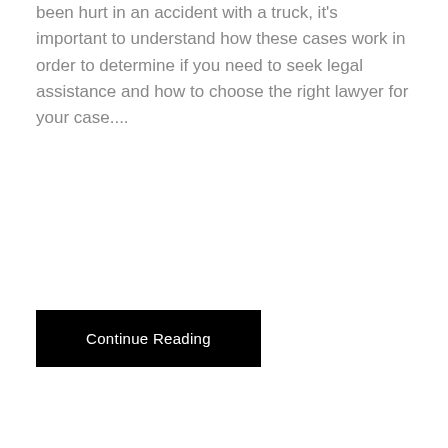been hurt in an accident with a truck, it's important to understand how these cases work in order to determine if you need to seek legal assistance and how to choose the right lawyer for your case....
Continue Reading
Do you feel dizzy? Chiropractic Care Could Help With Vertigo!